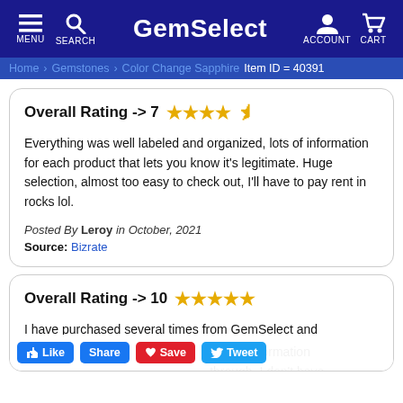GemSelect — MENU SEARCH ACCOUNT CART
Home > Gemstones > Color Change Sapphire — Item ID = 40391
Overall Rating -> 7 ★★★★½

Everything was well labeled and organized, lots of information for each product that lets you know it's legitimate. Huge selection, almost too easy to check out, I'll have to pay rent in rocks lol.

Posted By Leroy in October, 2021
Source: Bizrate
Overall Rating -> 10 ★★★★★

I have purchased several times from GemSelect and ... s. The information ... thorough. I don't have